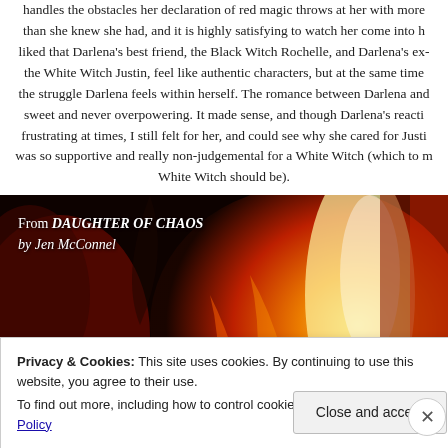handles the obstacles her declaration of red magic throws at her with more strength than she knew she had, and it is highly satisfying to watch her come into her own. I liked that Darlena's best friend, the Black Witch Rochelle, and Darlena's ex-boyfriend the White Witch Justin, feel like authentic characters, but at the same time they mirror the struggle Darlena feels within herself. The romance between Darlena and Justin was sweet and never overpowering. It made sense, and though Darlena's reactions were frustrating at times, I still felt for her, and could see why she cared for Justin — he was so supportive and really non-judgemental for a White Witch (which to me is how a White Witch should be).
[Figure (photo): Dark atmospheric image with fire/flames in orange and yellow tones, overlaid with italic text reading 'From DAUGHTER OF CHAOS by Jen McConnel']
Privacy & Cookies: This site uses cookies. By continuing to use this website, you agree to their use. To find out more, including how to control cookies, see here: Cookie Policy
Close and accept
Advertisements